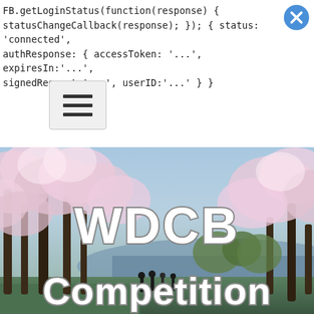FB.getLoginStatus(function(response) {
statusChangeCallback(response); }); { status: 'connected',
authResponse: { accessToken: '...', expiresIn:'...',
signedRequest:'...', userID:'...' } }
[Figure (screenshot): Hamburger menu button icon (three horizontal lines) on a light gray rounded rectangle button]
[Figure (photo): Photo of cherry blossom trees in bloom along a waterway (likely Washington DC Tidal Basin) with large white bold text overlay reading 'WDCB Competition']